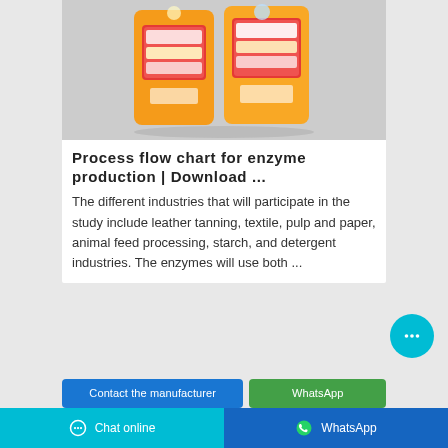[Figure (photo): Product photo of orange detergent powder bags with colorful labels on a grey background]
Process flow chart for enzyme production | Download ...
The different industries that will participate in the study include leather tanning, textile, pulp and paper, animal feed processing, starch, and detergent industries. The enzymes will use both ...
[Figure (other): Cyan circular chat bubble button with three dots]
Contact the manufacturer
WhatsApp
Chat online   WhatsApp